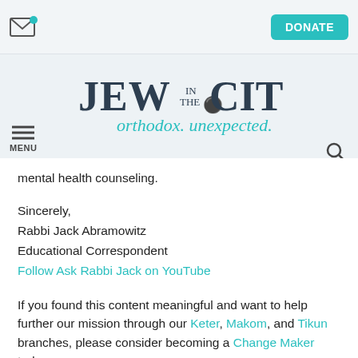Jew in the City — orthodox. unexpected. | DONATE
mental health counseling.
Sincerely,
Rabbi Jack Abramowitz
Educational Correspondent
Follow Ask Rabbi Jack on YouTube
If you found this content meaningful and want to help further our mission through our Keter, Makom, and Tikun branches, please consider becoming a Change Maker today.
If you found this content meaningful and want to help